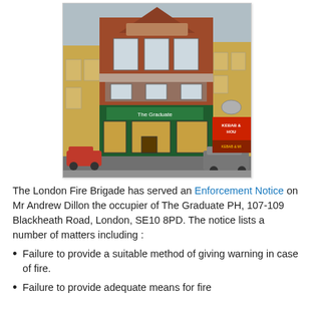[Figure (photo): Photograph of The Graduate PH public house at 107-109 Blackheath Road, London. A Victorian red-brick building with ornate facade, green pub frontage, and neighbouring yellow-brick buildings. A red car and other vehicles are visible at street level.]
The London Fire Brigade has served an Enforcement Notice on Mr Andrew Dillon the occupier of The Graduate PH, 107-109 Blackheath Road, London, SE10 8PD. The notice lists a number of matters including :
Failure to provide a suitable method of giving warning in case of fire.
Failure to provide adequate means for fire